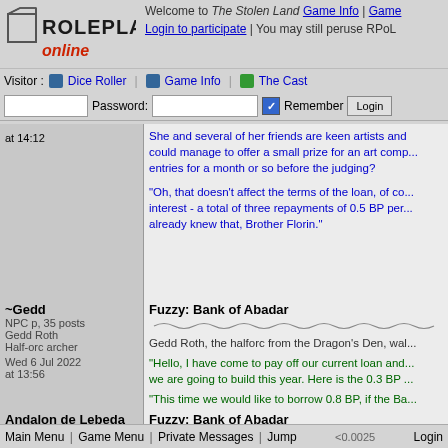RolePlay Online - Welcome to The Stolen Land - Game Info | Game Menu - Login to participate | You may still peruse RPoL
Visitor: Dice Roller | Game Info | The Cast
Password: [input] Remember [checkbox] Login
at 14:12
She and several of her friends are keen artists and could manage to offer a small prize for an art comp... entries for a month or so before the judging?

"Oh, that doesn't affect the terms of the loan, of co... interest - a total of three repayments of 0.5 BP per... already knew that, Brother Florin."
~Gedd
NPC p, 35 posts
Gedd Roth
Half-orc archer
Wed 6 Jul 2022
at 13:56
Fuzzy: Bank of Abadar
Gedd Roth, the halforc from the Dragon's Den, wal...
"Hello, I have come to pay off our current loan and... we are going to build this year. Here is the 0.3 BP ...
"This time we would like to borrow 0.8 BP, if the Ba... to make brandy to add to the range of beverages w...
Andalon de Lebeda
Player, 1331 posts
Bishop at Cathedral of Abadar in Tusk City
Tue 12 Jul 2022
at 13:51
Fuzzy: Bank of Abadar
The bank teller refers Gedd's request to the bank m...
"Certainly, Sir. The bank will be happy to loan the R... already familiar with our standard rates, so that wo...
Main Menu | Game Menu | Private Messages | Jump | <0.0025 | Login